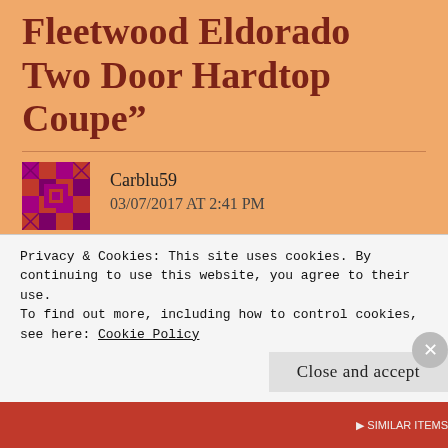Fleetwood Eldorado Two Door Hardtop Coupe”
Carblu59
03/07/2017 AT 2:41 PM
Size queens? Thrust? Laurence, you’re making me look at the Eldorado’s massive power dome hood in a whole
Privacy & Cookies: This site uses cookies. By continuing to use this website, you agree to their use.
To find out more, including how to control cookies, see here: Cookie Policy
Close and accept